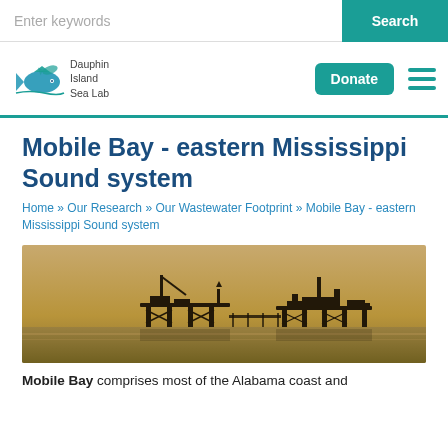Enter keywords | Search
[Figure (logo): Dauphin Island Sea Lab logo with fish icon and Donate button and hamburger menu]
Mobile Bay - eastern Mississippi Sound system
Home » Our Research » Our Wastewater Footprint » Mobile Bay - eastern Mississippi Sound system
[Figure (photo): Offshore oil platform silhouette at dusk over open water]
Mobile Bay comprises most of the Alabama coast and